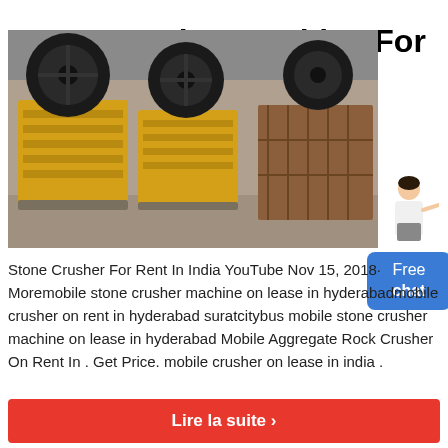Stone Crusher Machine For Rent Or Lease India
[Figure (photo): Yellow and black stone crusher machines (jaw crushers) in an industrial warehouse setting.]
Stone Crusher For Rent In India YouTube Nov 15, 2018· Moremobile stone crusher machine on lease in hyderabadmobile crusher on rent in hyderabad suratcitybus mobile stone crusher machine on lease in hyderabad Mobile Aggregate Rock Crusher On Rent In . Get Price. mobile crusher on lease in india .
Lire la suite ›